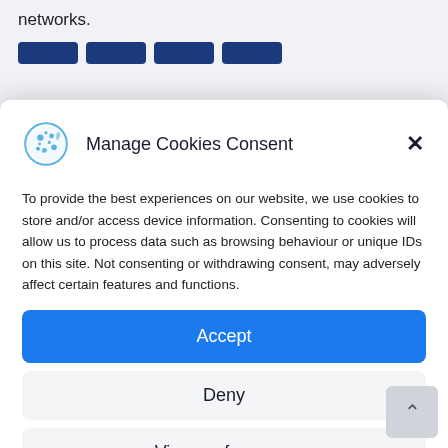networks.
[Figure (other): Four dark blue rectangular button shapes partially visible at top of page]
Manage Cookies Consent
To provide the best experiences on our website, we use cookies to store and/or access device information. Consenting to cookies will allow us to process data such as browsing behaviour or unique IDs on this site. Not consenting or withdrawing consent, may adversely affect certain features and functions.
Accept
Deny
View preferences
Cookies  Privacy Policy